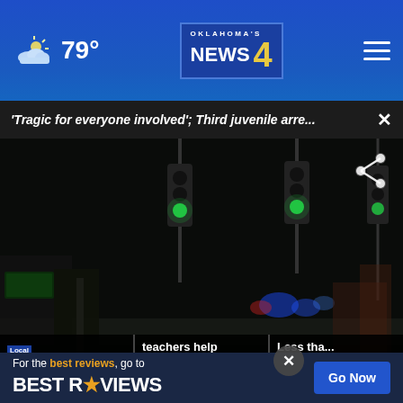79° — Oklahoma's News 4
'Tragic for everyone involved'; Third juvenile arre...
[Figure (screenshot): Night scene of an intersection with traffic cones, traffic lights glowing green, police lights in the background. Lower third red banner reads: 3 TEENS CHARGED IN KILLING OF 18-YEAR-OLD with Oklahoma's News 4 logo.]
schools. Classes resume May 16
teachers help students still without power
Less tha... without in Semi...
For the best reviews, go to BESTREVIEWS  Go Now